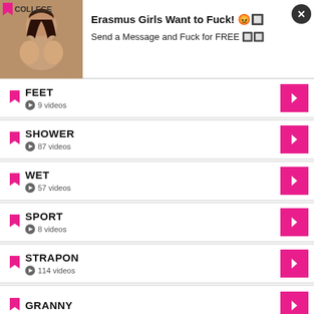[Figure (photo): Ad banner with photo of woman and text 'Erasmus Girls Want to Fuck! Send a Message and Fuck for FREE']
FEET
9 videos
SHOWER
87 videos
WET
57 videos
SPORT
8 videos
STRAPON
114 videos
GRANNY